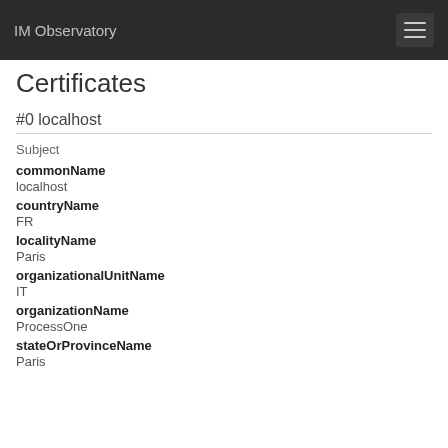IM Observatory
Certificates
#0 localhost
Subject
commonName
localhost
countryName
FR
localityName
Paris
organizationalUnitName
IT
organizationName
ProcessOne
stateOrProvinceName
Paris